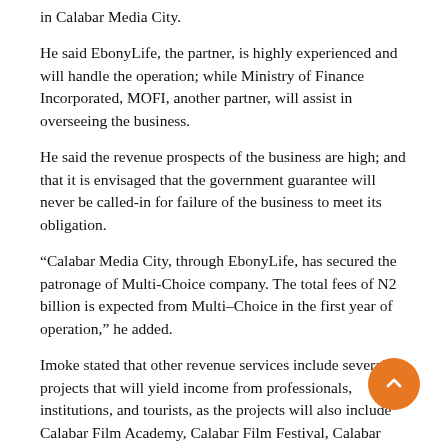in Calabar Media City.
He said EbonyLife, the partner, is highly experienced and will handle the operation; while Ministry of Finance Incorporated, MOFI, another partner, will assist in overseeing the business.
He said the revenue prospects of the business are high; and that it is envisaged that the government guarantee will never be called-in for failure of the business to meet its obligation.
“Calabar Media City, through EbonyLife, has secured the patronage of Multi-Choice company. The total fees of N2 billion is expected from Multi–Choice in the first year of operation,” he added.
Imoke stated that other revenue services include several projects that will yield income from professionals, institutions, and tourists, as the projects will also include Calabar Film Academy, Calabar Film Festival, Calabar Music Festival and Calabar Festival Week.
According to him, the business revenue plan shows that by the third year of operation, the revenue will be NGN3.8 billion and by the seventh year, the total income expected will be NGN33.3 billion.
Highlight of the First Bank offer showed the borrower and therefore, “the obligator is Calabar Media City with tenor of 48